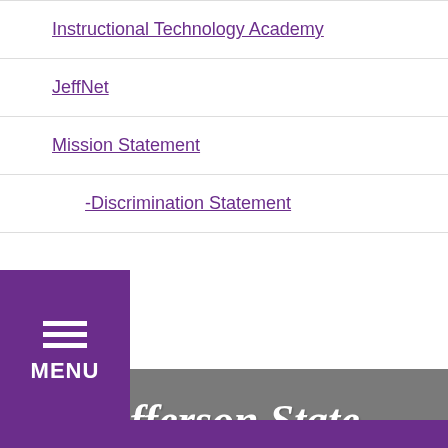Instructional Technology Academy
JeffNet
Mission Statement
Non-Discrimination Statement
[Figure (logo): Jefferson State Community College logo in white script on gray background]
2601 Carson Road, Birmingham, AL 35215 | 1-888-453-3378